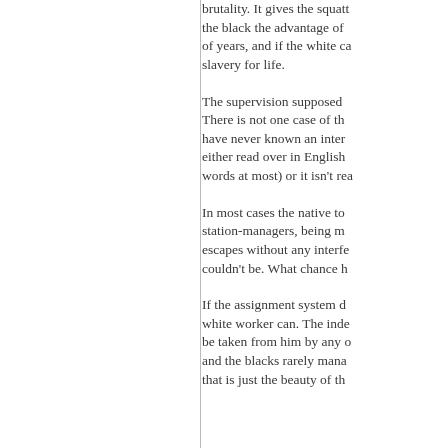brutality. It gives the squatt... the black the advantage of... of years, and if the white ca... slavery for life.
The supervision supposed... There is not one case of th... have never known an inter... either read over in English... words at most) or it isn't rea...
In most cases the native to... station-managers, being m... escapes without any interfe... couldn't be. What chance h...
If the assignment system d... white worker can. The inde... be taken from him by any o... and the blacks rarely mana... that is just the beauty of th...